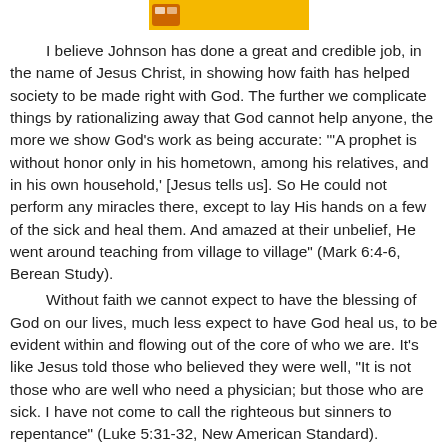[Figure (other): Partial banner image showing a yellow/orange button or logo element at the top of the page]
I believe Johnson has done a great and credible job, in the name of Jesus Christ, in showing how faith has helped society to be made right with God. The further we complicate things by rationalizing away that God cannot help anyone, the more we show God's work as being accurate: '"A prophet is without honor only in his hometown, among his relatives, and in his own household,' [Jesus tells us]. So He could not perform any miracles there, except to lay His hands on a few of the sick and heal them. And amazed at their unbelief, He went around teaching from village to village" (Mark 6:4-6, Berean Study).
Without faith we cannot expect to have the blessing of God on our lives, much less expect to have God heal us, to be evident within and flowing out of the core of who we are. It's like Jesus told those who believed they were well, "It is not those who are well who need a physician; but those who are sick. I have not come to call the righteous but sinners to repentance" (Luke 5:31-32, New American Standard).
Truly without the power of God in our lives, we have no hope or even experience the righteousness of God, to